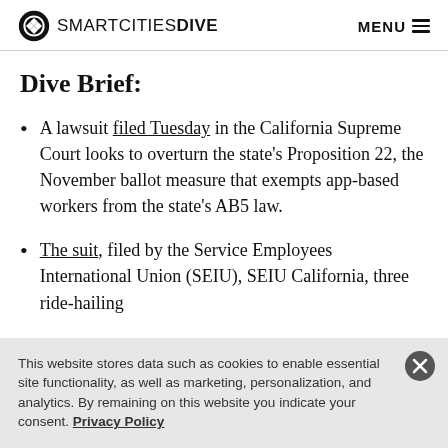SMARTCITIES DIVE  MENU
Dive Brief:
A lawsuit filed Tuesday in the California Supreme Court looks to overturn the state's Proposition 22, the November ballot measure that exempts app-based workers from the state's AB5 law.
The suit, filed by the Service Employees International Union (SEIU), SEIU California, three ride-hailing
This website stores data such as cookies to enable essential site functionality, as well as marketing, personalization, and analytics. By remaining on this website you indicate your consent. Privacy Policy